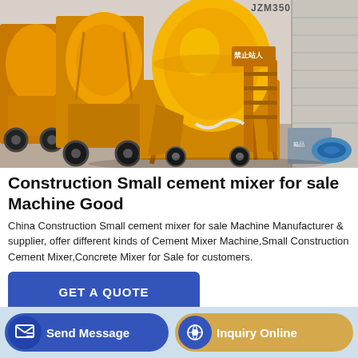[Figure (photo): Photograph of multiple yellow JZM350 construction cement mixers parked in a row in a warehouse/yard. The machines are bright orange-yellow with large cylindrical drums, frames, and wheels. A concrete block wall is visible on the right, and a blue coiled hose is on the ground.]
Construction Small cement mixer for sale Machine Good
China Construction Small cement mixer for sale Machine Manufacturer & supplier, offer different kinds of Cement Mixer Machine,Small Construction Cement Mixer,Concrete Mixer for Sale for customers.
GET A QUOTE
Send Message
Inquiry Online